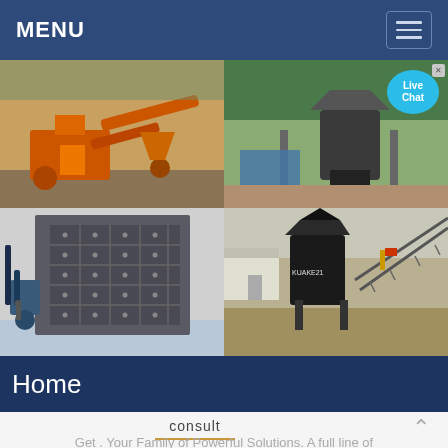MENU
[Figure (photo): Four-panel photo grid showing industrial crushing and mining machinery: top-left shows orange-painted impact crusher and conveyor belt system outdoors; top-right shows a cone crusher under trees; bottom-left shows a large impact crusher plate rotor close-up indoors; bottom-right shows a VSI sand maker and conveyor structure at an outdoor processing plant.]
Home
consult
Get . Your Family of Powerful Solutions. A full line of